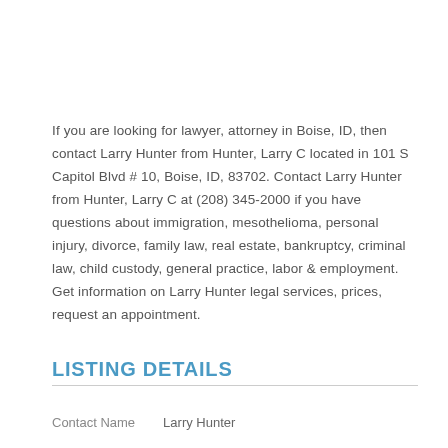If you are looking for lawyer, attorney in Boise, ID, then contact Larry Hunter from Hunter, Larry C located in 101 S Capitol Blvd # 10, Boise, ID, 83702. Contact Larry Hunter from Hunter, Larry C at (208) 345-2000 if you have questions about immigration, mesothelioma, personal injury, divorce, family law, real estate, bankruptcy, criminal law, child custody, general practice, labor & employment. Get information on Larry Hunter legal services, prices, request an appointment.
LISTING DETAILS
| Contact Name | Larry Hunter |